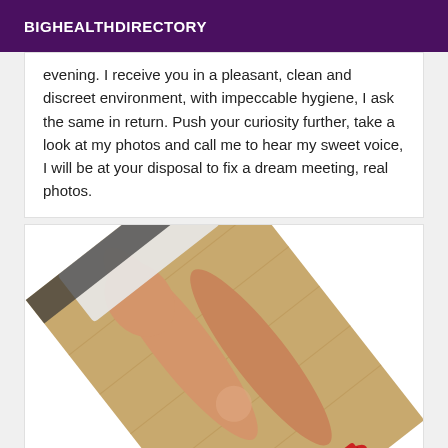BIGHEALTHDIRECTORY
evening. I receive you in a pleasant, clean and discreet environment, with impeccable hygiene, I ask the same in return. Push your curiosity further, take a look at my photos and call me to hear my sweet voice, I will be at your disposal to fix a dream meeting, real photos.
[Figure (photo): Photo of a woman's legs wearing red high heels, rotated/tilted, on a wooden floor background]